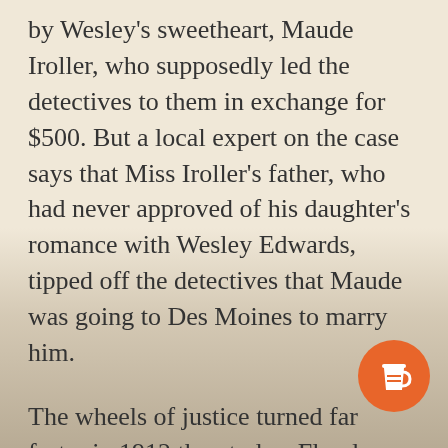by Wesley's sweetheart, Maude Iroller, who supposedly led the detectives to them in exchange for $500. But a local expert on the case says that Miss Iroller's father, who had never approved of his daughter's romance with Wesley Edwards, tipped off the detectives that Maude was going to Des Moines to marry him.
The wheels of justice turned far faster in 1912 than today. Floyd Allen went on trial in Wytheville on April 30, charged with the slaying of Commonwealth's Attorney Foster. On May 18 he was convicted and sentenced to death in the electric chair. In
[Figure (illustration): Orange circular coffee cup button icon in bottom right corner]